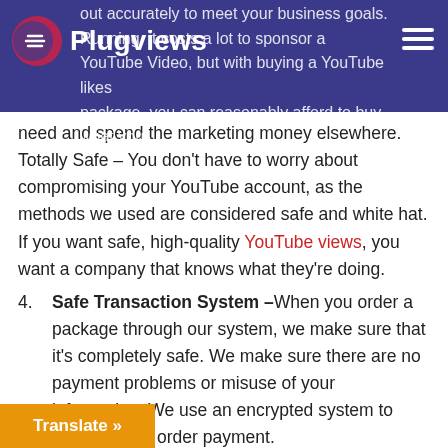Plugviews
out accurately to meet your business goals. Running, it costs a lot to sponsor a YouTube Video, but with buying a YouTube likes package, you can reasonably afford to buy what you need and spend the marketing money elsewhere. Totally Safe – You don't have to worry about compromising your YouTube account, as the methods we used are considered safe and white hat. If you want safe, high-quality YouTube views, you want a company that knows what they're doing.
Safe Transaction System –When you order a package through our system, we make sure that it's completely safe. We make sure there are no payment problems or misuse of your information. We use an encrypted system to process your order payment.
No Password Needed –We don't need access to your account to boost the number of views your YouTube